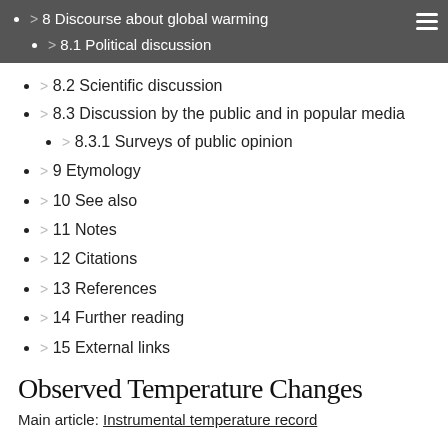> 8 Discourse about global warming
> 8.1 Political discussion
> 8.2 Scientific discussion
> 8.3 Discussion by the public and in popular media
> 8.3.1 Surveys of public opinion
> 9 Etymology
> 10 See also
> 11 Notes
> 12 Citations
> 13 References
> 14 Further reading
> 15 External links
Observed Temperature Changes
Main article: Instrumental temperature record